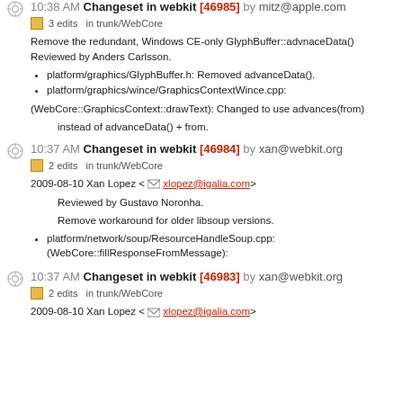10:38 AM Changeset in webkit [46985] by mitz@apple.com
3 edits  in trunk/WebCore
Remove the redundant, Windows CE-only GlyphBuffer::advnaceData()
Reviewed by Anders Carlsson.
platform/graphics/GlyphBuffer.h: Removed advanceData().
platform/graphics/wince/GraphicsContextWince.cpp:
(WebCore::GraphicsContext::drawText): Changed to use advances(from)
instead of advanceData() + from.
10:37 AM Changeset in webkit [46984] by xan@webkit.org
2 edits  in trunk/WebCore
2009-08-10 Xan Lopez <xlopez@igalia.com>
Reviewed by Gustavo Noronha.
Remove workaround for older libsoup versions.
platform/network/soup/ResourceHandleSoup.cpp:
(WebCore::fillResponseFromMessage):
10:37 AM Changeset in webkit [46983] by xan@webkit.org
2 edits  in trunk/WebCore
2009-08-10 Xan Lopez <xlopez@igalia.com>